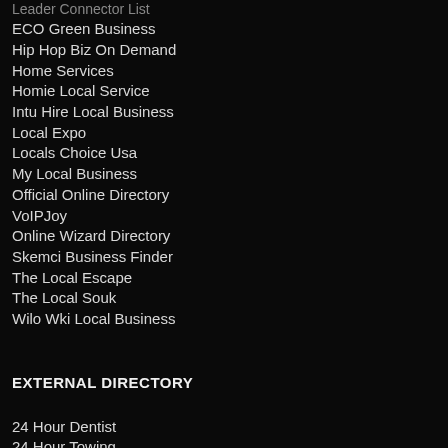Leader Connector List
ECO Green Business
Hip Hop Biz On Demand
Home Services
Homie Local Service
Intu Hire Local Business
Local Expo
Locals Choice Usa
My Local Business
Official Online Directory
VoIPJoy
Online Wizard Directory
Skemci Business Finder
The Local Escape
The Local Souk
Wilo Wki Local Business
EXTERNAL DIRECTORY
24 Hour Dentist
24 Hour Towing
Local Sport Catalog
Alkaltham Catalog